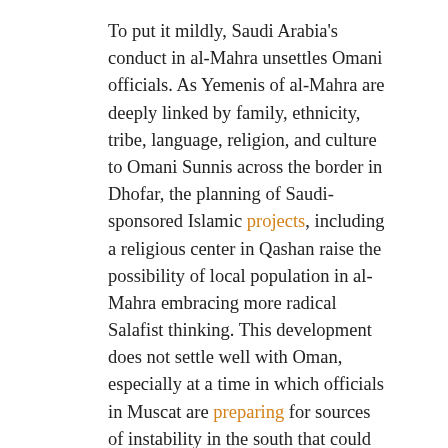To put it mildly, Saudi Arabia's conduct in al-Mahra unsettles Omani officials. As Yemenis of al-Mahra are deeply linked by family, ethnicity, tribe, language, religion, and culture to Omani Sunnis across the border in Dhofar, the planning of Saudi-sponsored Islamic projects, including a religious center in Qashan raise the possibility of local population in al-Mahra embracing more radical Salafist thinking. This development does not settle well with Oman, especially at a time in which officials in Muscat are preparing for sources of instability in the south that could fuel greater problems in the post-Qaboos period.
Doubtless, at a time in which Gulf Cooperation Council member-states are increasingly divided over a host of regional security issues from the blockade of Qatar to the Syrian civil war and crisis in Yemen, the future of al-Mahra and the rest of Southern Yemen will continue to fuel friction between Abu Dhabi, Riyadh, and